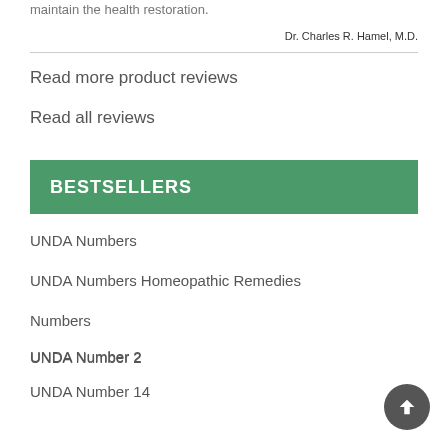maintain the health restoration.
Dr. Charles R. Hamel, M.D.
Read more product reviews
Read all reviews
BESTSELLERS
UNDA Numbers
UNDA Numbers Homeopathic Remedies
Numbers
UNDA Number 2
UNDA Number 14
UNDA Number 1
UNDA Number 5